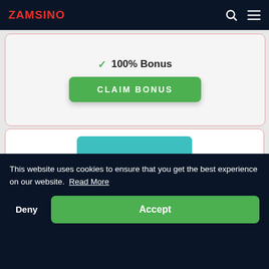ZAMSINO
✓ 100% Bonus
CLAIM BONUS
[Figure (logo): Playzee casino logo — white text 'playzee' on a teal/cyan rounded rectangle background]
✓ 100% bonus
This website uses cookies to ensure that you get the best experience on our website. Read More
Deny
Accept